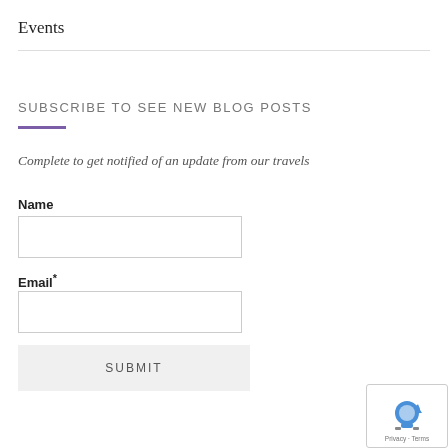Events
SUBSCRIBE TO SEE NEW BLOG POSTS
Complete to get notified of an update from our travels
Name
Email*
SUBMIT
[Figure (other): reCAPTCHA badge with robot icon and Privacy - Terms text]